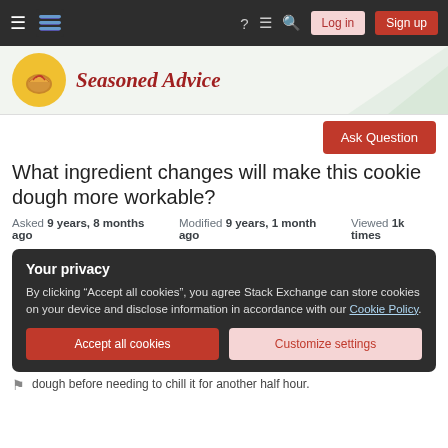Stack Exchange navigation bar with Log in and Sign up buttons
[Figure (logo): Seasoned Advice site logo with chef hat icon in yellow circle and cursive red site name]
Ask Question
What ingredient changes will make this cookie dough more workable?
Asked 9 years, 8 months ago   Modified 9 years, 1 month ago   Viewed 1k times
Your privacy
By clicking "Accept all cookies", you agree Stack Exchange can store cookies on your device and disclose information in accordance with our Cookie Policy.
Accept all cookies   Customize settings
dough before needing to chill it for another half hour.